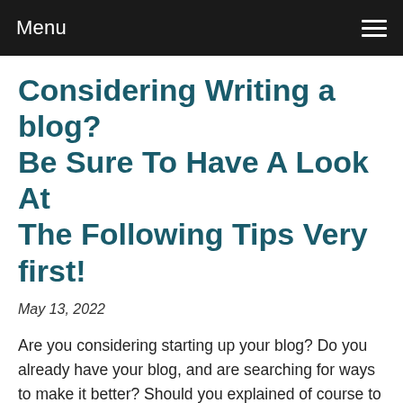Menu
Considering Writing a blog? Be Sure To Have A Look At The Following Tips Very first!
May 13, 2022
Are you considering starting up your blog? Do you already have your blog, and are searching for ways to make it better? Should you explained of course to either of these queries, you possess come to the correct spot. This article will assist you to understand all that you need to understand about wr...
Read more